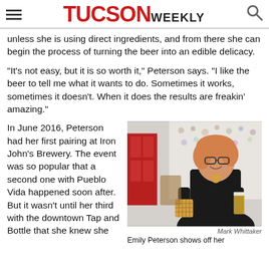TUCSON WEEKLY
unless she is using direct ingredients, and from there she can begin the process of turning the beer into an edible delicacy.
"It's not easy, but it is so worth it," Peterson says. "I like the beer to tell me what it wants to do. Sometimes it works, sometimes it doesn't. When it does the results are freakin' amazing."
In June 2016, Peterson had her first pairing at Iron John's Brewery. The event was so popular that a second one with Pueblo Vida happened soon after. But it wasn't until her third with the downtown Tap and Bottle that she knew she
[Figure (photo): Woman with glasses and blonde hair smiling, holding a waffle/food item and a glass of beer, standing in front of a decorative wall]
Mark Whittaker
Emily Peterson shows off her